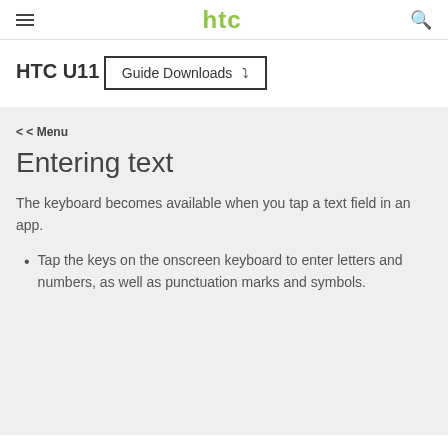htc
HTC U11
Guide Downloads
< < Menu
Entering text
The keyboard becomes available when you tap a text field in an app.
Tap the keys on the onscreen keyboard to enter letters and numbers, as well as punctuation marks and symbols.